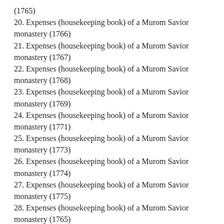(1765)
20. Expenses (housekeeping book) of a Murom Savior monastery (1766)
21. Expenses (housekeeping book) of a Murom Savior monastery (1767)
22. Expenses (housekeeping book) of a Murom Savior monastery (1768)
23. Expenses (housekeeping book) of a Murom Savior monastery (1769)
24. Expenses (housekeeping book) of a Murom Savior monastery (1771)
25. Expenses (housekeeping book) of a Murom Savior monastery (1773)
26. Expenses (housekeeping book) of a Murom Savior monastery (1774)
27. Expenses (housekeeping book) of a Murom Savior monastery (1775)
28. Expenses (housekeeping book) of a Murom Savior monastery (1765)
29. Expenses (housekeeping book) of a Murom Savior monastery